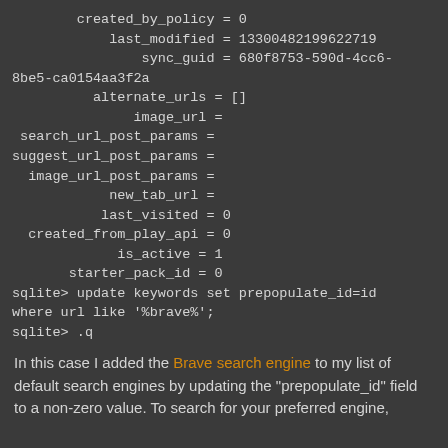created_by_policy = 0
            last_modified = 13300482199622719
                sync_guid = 680f8753-590d-4cc6-8be5-ca0154aa3f2a
          alternate_urls = []
               image_url =
 search_url_post_params =
suggest_url_post_params =
  image_url_post_params =
            new_tab_url =
           last_visited = 0
  created_from_play_api = 0
             is_active = 1
       starter_pack_id = 0
sqlite> update keywords set prepopulate_id=id where url like '%brave%';
sqlite> .q
In this case I added the Brave search engine to my list of default search engines by updating the "prepopulate_id" field to a non-zero value. To search for your preferred engine,